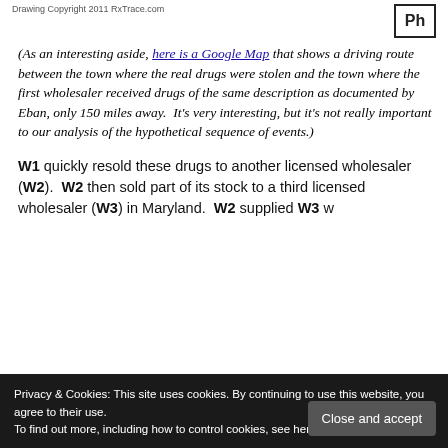Drawing Copyright 2011 RxTrace.com
(As an interesting aside, here is a Google Map that shows a driving route between the town where the real drugs were stolen and the town where the first wholesaler received drugs of the same description as documented by Eban, only 150 miles away.  It's very interesting, but it's not really important to our analysis of the hypothetical sequence of events.)
W1 quickly resold these drugs to another licensed wholesaler (W2).  W2 then sold part of its stock to a third licensed wholesaler (W3) in Maryland.  W2 supplied W3 with
Privacy & Cookies: This site uses cookies. By continuing to use this website, you agree to their use. To find out more, including how to control cookies, see here: Our Privacy Policy
of "pedigree" a bad connotation.  One might ask, "What